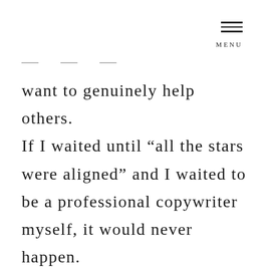MENU
want to genuinely help others. If I waited until “all the stars were aligned” and I waited to be a professional copywriter myself, it would never happen. It just wouldn’t. So done is better than perfect, and I am committed to showing up